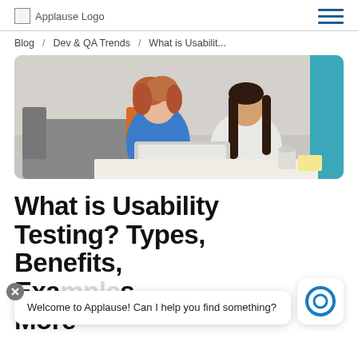Applause Logo [hamburger menu]
Blog / Dev & QA Trends / What is Usabilit...
[Figure (photo): Two women sitting on a couch looking at a laptop together. One wears a blue shirt, the other a white blazer. There is an orange pillow behind them. A coffee mug is on the table in front.]
What is Usability Testing? Types, Benefits, Examples, and More
Welcome to Applause! Can I help you find something?